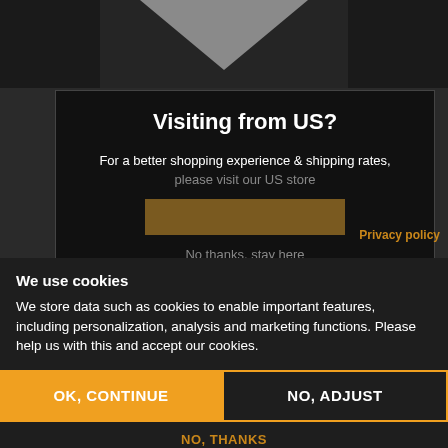[Figure (screenshot): Dark website background with grey chevron/arrow shape at top center]
Visiting from US?
For a better shopping experience & shipping rates,
please visit our US store
Privacy policy
We use cookies
We store data such as cookies to enable important features, including personalization, analysis and marketing functions. Please help us with this and accept our cookies.
OK, CONTINUE
NO, ADJUST
NO, THANKS
Technical information